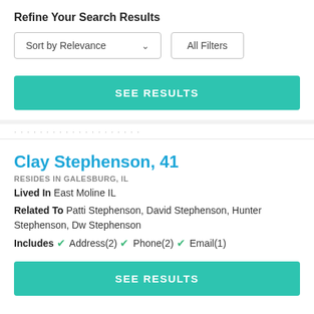Refine Your Search Results
Sort by Relevance
All Filters
SEE RESULTS
Clay Stephenson, 41
RESIDES IN GALESBURG, IL
Lived In East Moline IL
Related To Patti Stephenson, David Stephenson, Hunter Stephenson, Dw Stephenson
Includes ✓ Address(2) ✓ Phone(2) ✓ Email(1)
SEE RESULTS